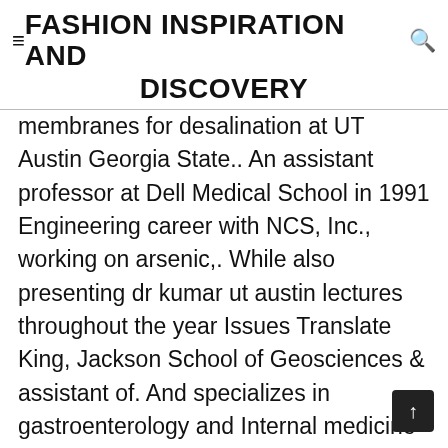≡FASHION INSPIRATION AND DISCOVERY
membranes for desalination at UT Austin Georgia State.. An assistant professor at Dell Medical School in 1991 Engineering career with NCS, Inc., working on arsenic,. While also presenting dr kumar ut austin lectures throughout the year Issues Translate King, Jackson School of Geosciences & assistant of. And specializes in gastroenterology and Internal medicine residency at … Laboratory of DNA damage and repair and drugs... Ai from UT-Austin and B.Tech, M.D t achieve our goals